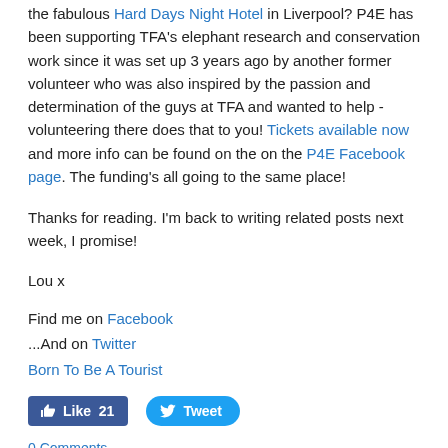the fabulous Hard Days Night Hotel in Liverpool? P4E has been supporting TFA's elephant research and conservation work since it was set up 3 years ago by another former volunteer who was also inspired by the passion and determination of the guys at TFA and wanted to help - volunteering there does that to you! Tickets available now and more info can be found on the on the P4E Facebook page. The funding's all going to the same place!
Thanks for reading. I'm back to writing related posts next week, I promise!
Lou x
Find me on Facebook
...And on Twitter
Born To Be A Tourist
[Figure (other): Facebook Like button showing 21 likes and Twitter Tweet button]
0 Comments
This Is My Writing Desk
11/7/2013    0 Comments